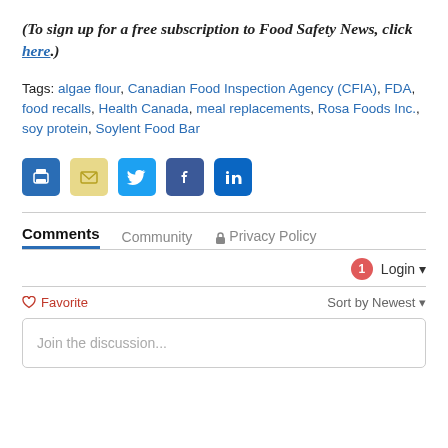(To sign up for a free subscription to Food Safety News, click here.)
Tags: algae flour, Canadian Food Inspection Agency (CFIA), FDA, food recalls, Health Canada, meal replacements, Rosa Foods Inc., soy protein, Soylent Food Bar
[Figure (other): Social sharing icons: Print (blue), Email (yellow/tan), Twitter (light blue), Facebook (dark blue), LinkedIn (blue)]
Comments  Community  Privacy Policy
1  Login
Favorite  Sort by Newest
Join the discussion...